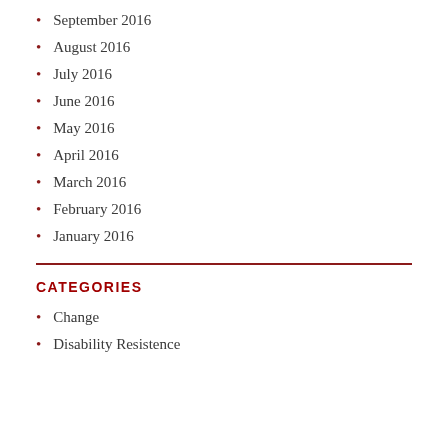September 2016
August 2016
July 2016
June 2016
May 2016
April 2016
March 2016
February 2016
January 2016
CATEGORIES
Change
Disability Resistence